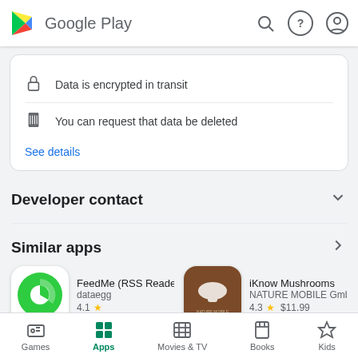Google Play
Data is encrypted in transit
You can request that data be deleted
See details
Developer contact
Similar apps
FeedMe (RSS Reader) dataegg 4.1 ★
iKnow Mushrooms NATURE MOBILE GmbH 4.3 ★  $11.99
Woot! Deals and Sh
Pluma RSS Reader
Games  Apps  Movies & TV  Books  Kids